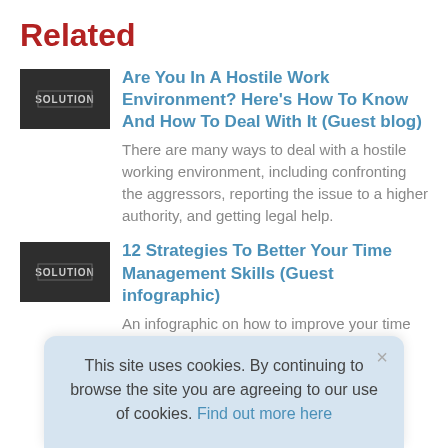Related
[Figure (screenshot): Thumbnail image with dark background showing 'SOLUTION' text]
Are You In A Hostile Work Environment? Here's How To Know And How To Deal With It (Guest blog)
There are many ways to deal with a hostile working environment, including confronting the aggressors, reporting the issue to a higher authority, and getting legal help.
[Figure (screenshot): Thumbnail image with dark background showing 'SOLUTION' text]
12 Strategies To Better Your Time Management Skills (Guest infographic)
An infographic on how to improve your time management skills.
This site uses cookies. By continuing to browse the site you are agreeing to our use of cookies. Find out more here